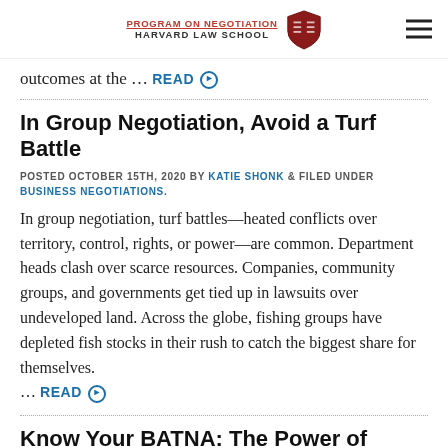PROGRAM ON NEGOTIATION HARVARD LAW SCHOOL
outcomes at the … READ
In Group Negotiation, Avoid a Turf Battle
POSTED OCTOBER 15TH, 2020 BY KATIE SHONK & FILED UNDER BUSINESS NEGOTIATIONS.
In group negotiation, turf battles—heated conflicts over territory, control, rights, or power—are common. Department heads clash over scarce resources. Companies, community groups, and governments get tied up in lawsuits over undeveloped land. Across the globe, fishing groups have depleted fish stocks in their rush to catch the biggest share for themselves. … READ
Know Your BATNA: The Power of